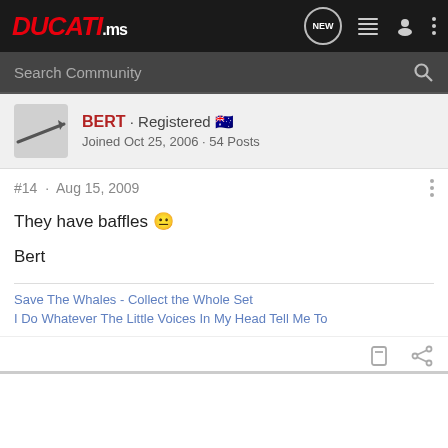DUCATI.ms
Search Community
BERT · Registered 🇦🇺
Joined Oct 25, 2006 · 54 Posts
#14 · Aug 15, 2009
They have baffles 😐
Bert
Save The Whales - Collect the Whole Set
I Do Whatever The Little Voices In My Head Tell Me To